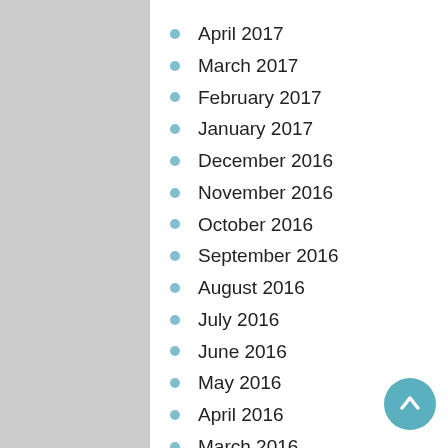April 2017
March 2017
February 2017
January 2017
December 2016
November 2016
October 2016
September 2016
August 2016
July 2016
June 2016
May 2016
April 2016
March 2016